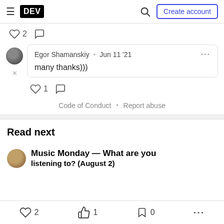DEV — Create account
♡ 2  ○
Egor Shamanskiy • Jun 11 '21
many thanks)))
♡ 1  ○
Code of Conduct • Report abuse
Read next
Music Monday — What are you listening to? (August 2)
♡ 2   ✋ 1   □ 0   ...